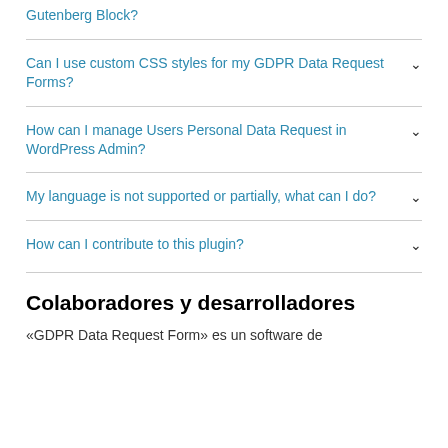Gutenberg Block?
Can I use custom CSS styles for my GDPR Data Request Forms?
How can I manage Users Personal Data Request in WordPress Admin?
My language is not supported or partially, what can I do?
How can I contribute to this plugin?
Colaboradores y desarrolladores
«GDPR Data Request Form» es un software de